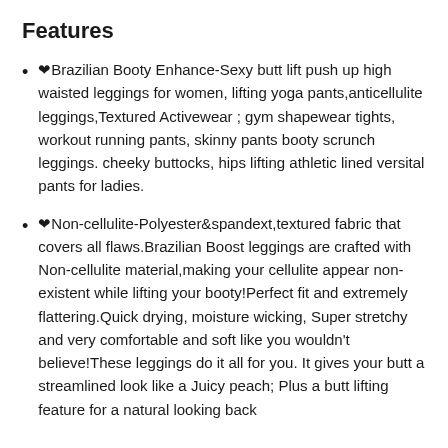Features
❤Brazilian Booty Enhance-Sexy butt lift push up high waisted leggings for women, lifting yoga pants,anticellulite leggings,Textured Activewear ; gym shapewear tights, workout running pants, skinny pants booty scrunch leggings. cheeky buttocks, hips lifting athletic lined versital pants for ladies.
❤Non-cellulite-Polyester&spandext,textured fabric that covers all flaws.Brazilian Boost leggings are crafted with Non-cellulite material,making your cellulite appear non-existent while lifting your booty!Perfect fit and extremely flattering.Quick drying, moisture wicking, Super stretchy and very comfortable and soft like you wouldn't believe!These leggings do it all for you. It gives your butt a streamlined look like a Juicy peach; Plus a butt lifting feature for a natural looking back